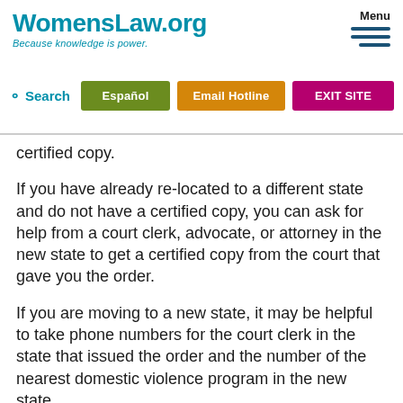WomensLaw.org — Because knowledge is power. | Menu | Search | Español | Email Hotline | EXIT SITE
certified copy.
If you have already re-located to a different state and do not have a certified copy, you can ask for help from a court clerk, advocate, or attorney in the new state to get a certified copy from the court that gave you the order.
If you are moving to a new state, it may be helpful to take phone numbers for the court clerk in the state that issued the order and the number of the nearest domestic violence program in the new state.